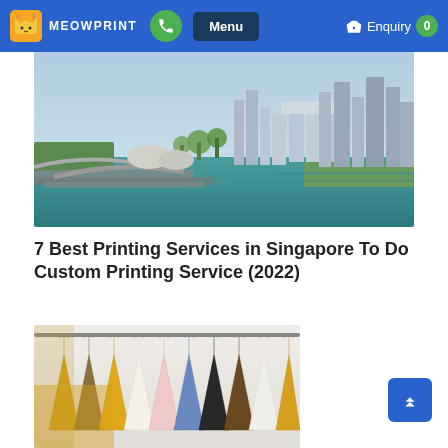MEOWPRINT | Menu | Enquiry 0
[Figure (photo): Aerial view of Singapore skyline showing Marina Bay Sands, Gardens by the Bay, and waterfront with expressways]
7 Best Printing Services in Singapore To Do Custom Printing Service (2022)
[Figure (photo): Colorful clothes hanging on hangers on a clothing rack, variety of shirts in different colors]